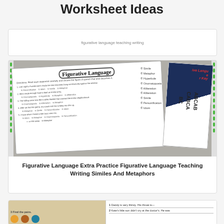Worksheet Ideas
figurative language teaching writing
[Figure (photo): Worksheet preview showing Figurative Language worksheet with multiple choice questions about figurative language devices (simile, metaphor, personification, idiom, hyperbole, alliteration, onomatopoeia) and an answer key card alongside]
Figurative Language Extra Practice Figurative Language Teaching Writing Similes And Metaphors
[Figure (photo): Bottom partially visible card showing animal illustrations and simile/metaphor fill-in sentences. Includes '3 Find the pairs.' instruction and sentences: '1 Daddy is very thirsty. His throat is—' and '2 Kate's little son didn't cry at the doctor's. He was']